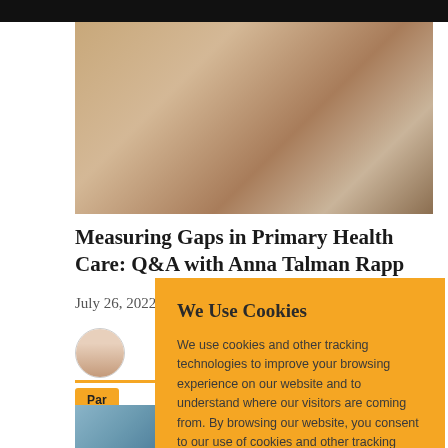[Figure (photo): A doctor examining a young child while the child's mother looks on, in what appears to be a clinic or community health setting in India.]
Measuring Gaps in Primary Health Care: Q&A with Anna Talman Rapp
July 26, 2022
[Figure (photo): Author avatar - small circular portrait photo of a woman]
Par
We Use Cookies

We use cookies and other tracking technologies to improve your browsing experience on our website and to understand where our visitors are coming from. By browsing our website, you consent to our use of cookies and other tracking technologies.
[Figure (photo): Partial bottom image visible below cookie modal]